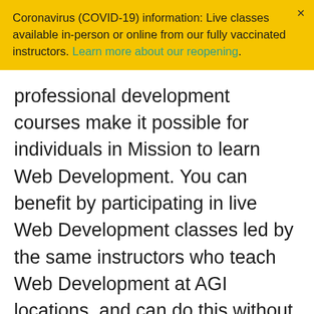Coronavirus (COVID-19) information: Live classes available in-person or online from our fully vaccinated instructors. Learn more about our reopening.
professional development courses make it possible for individuals in Mission to learn Web Development. You can benefit by participating in live Web Development classes led by the same instructors who teach Web Development at AGI locations, and can do this without needing to travel to a classroom. These regularly scheduled professional development Web Development courses occur in real-time and provide small-group sessions, making Web Development classes accessible to those in and around Mission, Kansas. Enrollment for